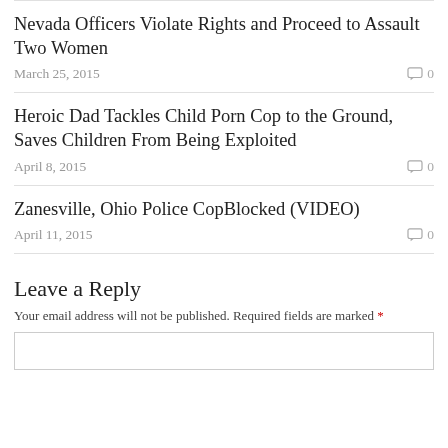Nevada Officers Violate Rights and Proceed to Assault Two Women
March 25, 2015   0
Heroic Dad Tackles Child Porn Cop to the Ground, Saves Children From Being Exploited
April 8, 2015   0
Zanesville, Ohio Police CopBlocked (VIDEO)
April 11, 2015   0
Leave a Reply
Your email address will not be published. Required fields are marked *